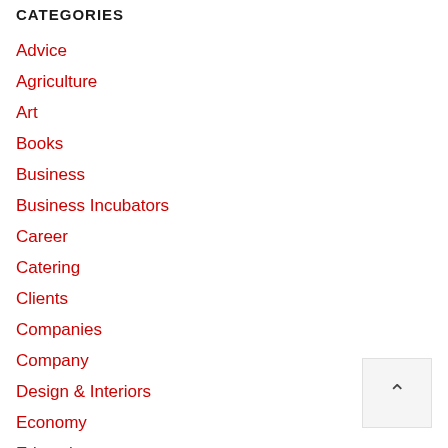CATEGORIES
Advice
Agriculture
Art
Books
Business
Business Incubators
Career
Catering
Clients
Companies
Company
Design & Interiors
Economy
Education